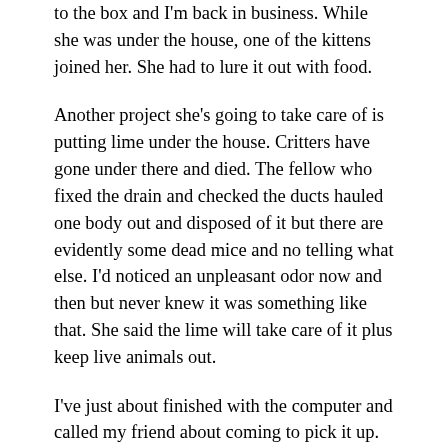to the box and I'm back in business. While she was under the house, one of the kittens joined her. She had to lure it out with food.
Another project she's going to take care of is putting lime under the house. Critters have gone under there and died. The fellow who fixed the drain and checked the ducts hauled one body out and disposed of it but there are evidently some dead mice and no telling what else. I'd noticed an unpleasant odor now and then but never knew it was something like that. She said the lime will take care of it plus keep live animals out.
I've just about finished with the computer and called my friend about coming to pick it up. Someone who did diagnostics on it said that the motherboard was damaged but I've found no evidence that it is. There was a boatload of bloatware on it that was slowing it down plus it badly needed updating. The price for a new motherboard was quoted as $500. I figure she was a potential victim. I checked all the ports, ran chkdsk and defragged it. I played videos, a CD, a